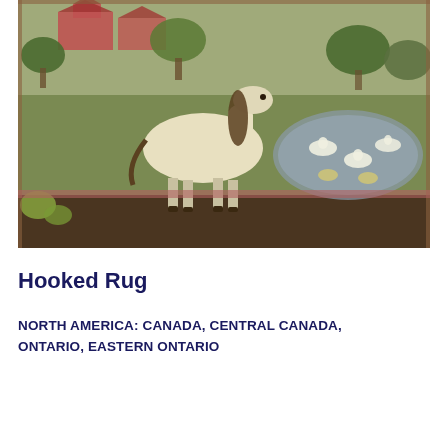[Figure (photo): A hooked rug depicting a farm scene with a white horse standing in a green field, red barns in the background, trees, and a pond with swans and ducks on the right side. The rug has a dark brown border and the scene is rendered in muted, earthy tones typical of folk art.]
Hooked Rug
NORTH AMERICA: CANADA, CENTRAL CANADA, ONTARIO, EASTERN ONTARIO